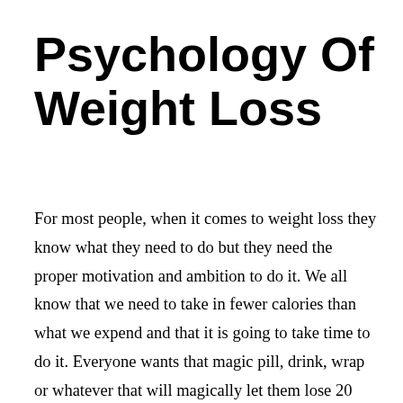Psychology Of Weight Loss
For most people, when it comes to weight loss they know what they need to do but they need the proper motivation and ambition to do it. We all know that we need to take in fewer calories than what we expend and that it is going to take time to do it. Everyone wants that magic pill, drink, wrap or whatever that will magically let them lose 20